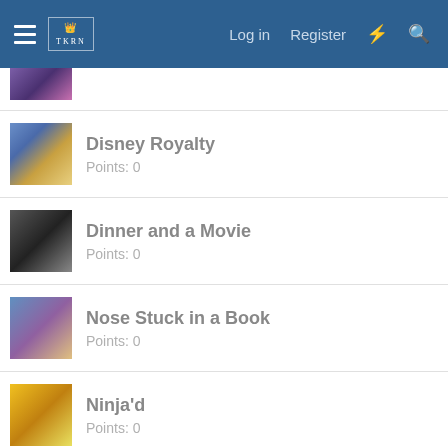Log in  Register
[Figure (screenshot): Partial thumbnail of a purple-toned game scene at top]
Disney Royalty
Points: 0
Dinner and a Movie
Points: 0
Nose Stuck in a Book
Points: 0
Ninja'd
Points: 0
Nothing's Like Before
Points: (partial)